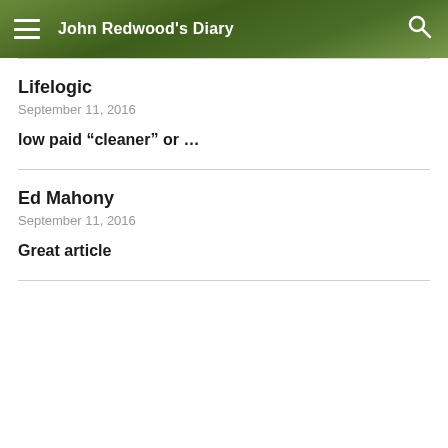John Redwood's Diary
Lifelogic
September 11, 2016
low paid “cleaner” or …
Ed Mahony
September 11, 2016
Great article